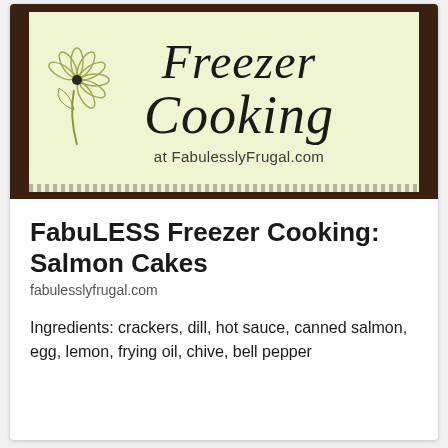[Figure (logo): Freezer Cooking at FabulesslyFrugal.com logo on light green background with dark brown border and decorative daisy flower]
FabuLESS Freezer Cooking: Salmon Cakes
fabulesslyfrugal.com
Ingredients: crackers, dill, hot sauce, canned salmon, egg, lemon, frying oil, chive, bell pepper